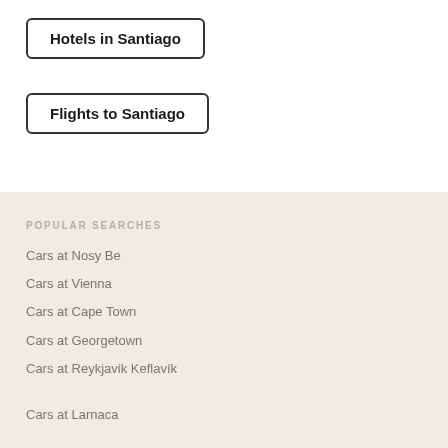Hotels in Santiago
Flights to Santiago
POPULAR SEARCHES
Cars at Nosy Be
Cars at Vienna
Cars at Cape Town
Cars at Georgetown
Cars at Reykjavik Keflavík
Cars at Larnaca